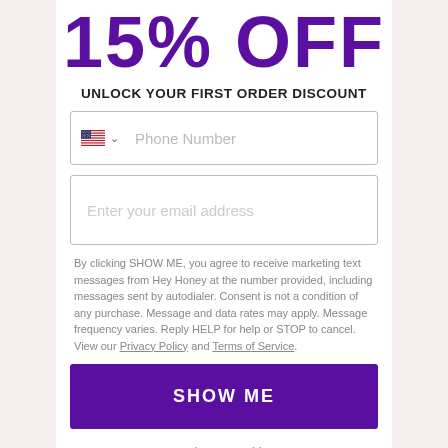15% OFF
UNLOCK YOUR FIRST ORDER DISCOUNT
[Figure (screenshot): Phone number input field with US flag and dropdown chevron, placeholder text 'Phone Number']
[Figure (screenshot): Email address input field with placeholder text 'Enter your email address']
By clicking SHOW ME, you agree to receive marketing text messages from Hey Honey at the number provided, including messages sent by autodialer. Consent is not a condition of any purchase. Message and data rates may apply. Message frequency varies. Reply HELP for help or STOP to cancel. View our Privacy Policy and Terms of Service.
SHOW ME
I don't need it